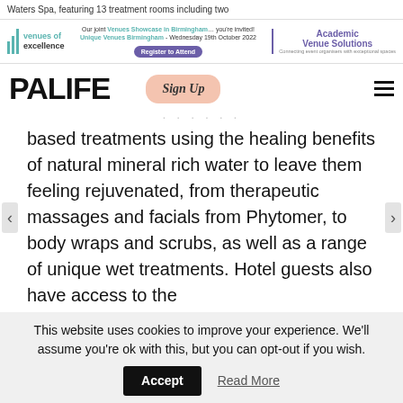Waters Spa, featuring 13 treatment rooms including two
[Figure (screenshot): Venues of Excellence and Academic Venue Solutions banner advertisement with event invite for Venues Showcase in Birmingham on Wednesday 19th October 2022 and Register to Attend button]
[Figure (logo): PALIFE logo with Sign Up button and hamburger menu icon]
based treatments using the healing benefits of natural mineral rich water to leave them feeling rejuvenated, from therapeutic massages and facials from Phytomer, to body wraps and scrubs, as well as a range of unique wet treatments. Hotel guests also have access to the
This website uses cookies to improve your experience. We'll assume you're ok with this, but you can opt-out if you wish.
Accept   Read More